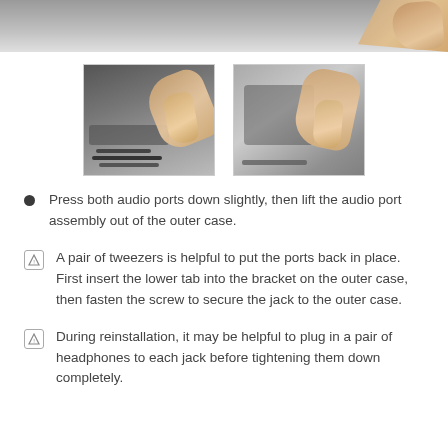[Figure (photo): Top portion of a photo showing hands working on a device interior, gray metallic surface visible]
[Figure (photo): Two thumbnail photos side by side: left shows hands pressing audio ports on a device interior with cables visible; right shows hands working on the outer case of a device]
Press both audio ports down slightly, then lift the audio port assembly out of the outer case.
A pair of tweezers is helpful to put the ports back in place. First insert the lower tab into the bracket on the outer case, then fasten the screw to secure the jack to the outer case.
During reinstallation, it may be helpful to plug in a pair of headphones to each jack before tightening them down completely.